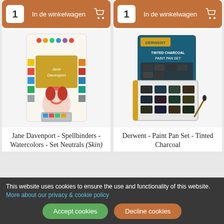[Figure (screenshot): Add to cart button with quantity box showing '1', label 'In de winkelwagen', and shopping cart icon on brown background - left product]
[Figure (screenshot): Add to cart button with quantity box showing '1', label 'In de winkelwagen', and shopping cart icon on brown background - right product]
[Figure (photo): Jane Davenport - Spellbinders watercolor set product image with colorful paint swatches and illustrated woman]
[Figure (photo): Derwent Paint Pan Set Tinted Charcoal product image showing dark grey paint pan set in teal packaging]
Jane Davenport - Spellbinders - Watercolors - Set Neutrals (Skin)
Derwent - Paint Pan Set - Tinted Charcoal
This website uses cookies to ensure the use and functionality of this website. More about our privacy & cookie policy
Accept cookies
Decline cookies